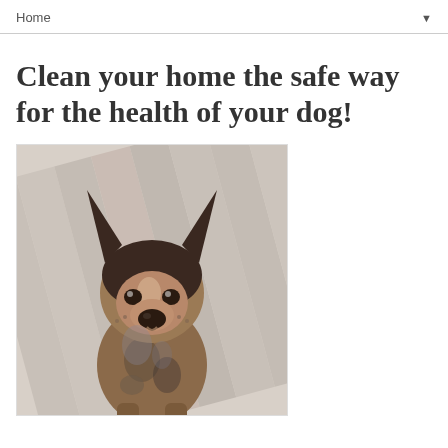Home
Clean your home the safe way for the health of your dog!
[Figure (photo): A brown and black merle dog with large pointed ears sitting on white wooden deck boards, looking up at the camera.]